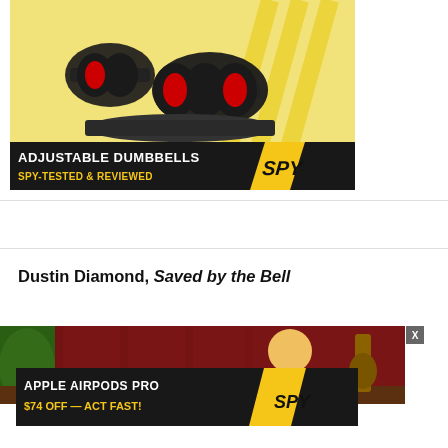[Figure (illustration): Advertisement for adjustable dumbbells from SPY. Top section shows two black adjustable dumbbells on a yellow/cream background with diagonal yellow stripes. Bottom banner is black with white text 'ADJUSTABLE DUMBBELLS' and yellow text 'SPY-TESTED & REVIEWED', with the SPY logo in a yellow diagonal badge on the right.]
Dustin Diamond, Saved by the Bell
[Figure (screenshot): Video preview thumbnail showing a person on stage with red curtain background, a guitar visible, and green plant on the left.]
[Figure (illustration): Advertisement for Apple AirPods Pro from SPY. Black banner with white text 'APPLE AIRPODS PRO' and yellow text '$74 OFF — ACT FAST!', with SPY logo in yellow diagonal badge on the right.]